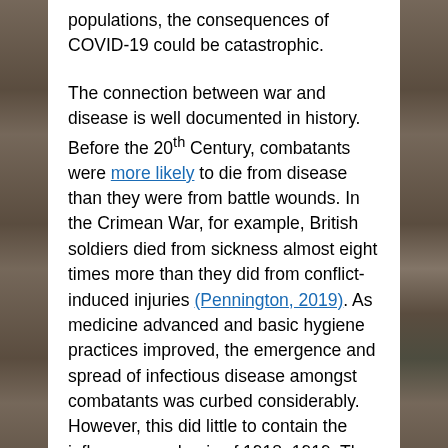populations, the consequences of COVID-19 could be catastrophic.
The connection between war and disease is well documented in history. Before the 20th Century, combatants were more likely to die from disease than they were from battle wounds. In the Crimean War, for example, British soldiers died from sickness almost eight times more than they did from conflict-induced injuries (Pennington, 2019). As medicine advanced and basic hygiene practices improved, the emergence and spread of infectious disease amongst combatants was curbed considerably. However, this did little to contain the influenza pandemic of 1918–1919. The pandemic coincided with the mass migration of soldiers back to their home countries and resulted in the death of between